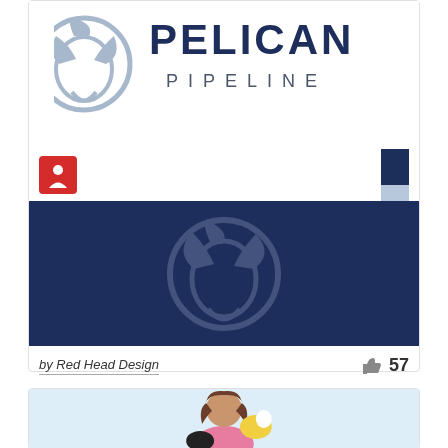[Figure (logo): Pelican Pipeline logo with circular pelican icon and text 'PELICAN PIPELINE']
[Figure (other): Color swatches: dark navy, light blue, gold/yellow, gray]
[Figure (illustration): Small red avatar icon with white figure]
[Figure (illustration): Dark navy banner with faded Pelican Pipeline circular logo watermark and a gold bar at the bottom]
by Red Head Design
57
[Figure (illustration): Cartoon illustration of a woman with brown hair holding a black cat, with a yellow/white parrot, on a light blue background]